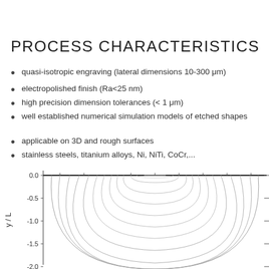PROCESS CHARACTERISTICS
quasi-isotropic engraving (lateral dimensions 10-300 μm)
electropolished finish (Ra<25 nm)
high precision dimension tolerances (< 1 μm)
well established numerical simulation models of etched shapes
applicable on 3D and rough surfaces
stainless steels, titanium alloys, Ni, NiTi, CoCr,...
[Figure (continuous-plot): Cross-sectional etching profile diagram showing concentric contour lines of etched shapes in a y/L vs x coordinate system. The y/L axis runs from 0.0 at top to -2.0 at bottom. Contour lines form nested U-shapes indicating progressive etch depth profiles.]